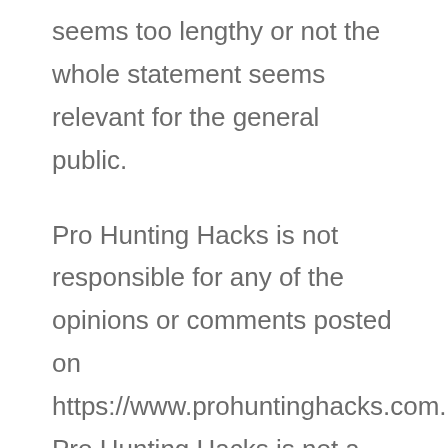seems too lengthy or not the whole statement seems relevant for the general public.
Pro Hunting Hacks is not responsible for any of the opinions or comments posted on https://www.prohuntinghacks.com. Pro Hunting Hacks is not a forum for testimonials, however provides testimonials as a means for customers to share their experiences with one another. To protect against abuse, all testimonials appear after they have been reviewed and have been approved